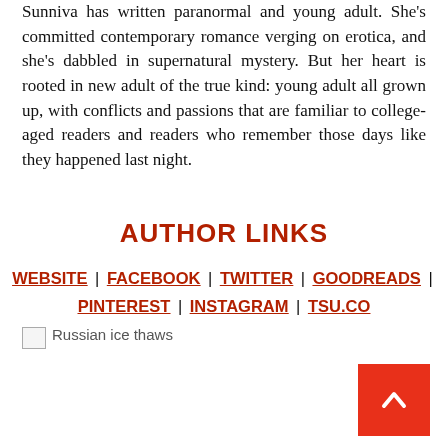Sunniva has written paranormal and young adult. She's committed contemporary romance verging on erotica, and she's dabbled in supernatural mystery. But her heart is rooted in new adult of the true kind: young adult all grown up, with conflicts and passions that are familiar to college-aged readers and readers who remember those days like they happened last night.
AUTHOR LINKS
WEBSITE | FACEBOOK | TWITTER | GOODREADS | PINTEREST | INSTAGRAM | TSU.CO
[Figure (photo): Broken image placeholder with alt text 'Russian ice thaws']